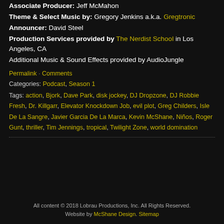Associate Producer: Jeff McMahon
Theme & Select Music by: Gregory Jenkins a.k.a. Gregtronic
Announcer: David Steel
Production Services provided by The Nerdist School in Los Angeles, CA
Additional Music & Sound Effects provided by AudioJungle
Permalink · Comments
Categories: Podcast, Season 1
Tags: action, Bjork, Dave Park, disk jockey, DJ Dropzone, DJ Robbie Fresh, Dr. Killgarr, Elevator Knockdown Job, evil plot, Greg Childers, Isle De La Sangre, Javier Garcia De La Marca, Kevin McShane, Niños, Roger Gunt, thriller, Tim Jennings, tropical, Twilight Zone, world domination
All content © 2018 Lobrau Productions, Inc. All Rights Reserved. Website by McShane Design. Sitemap